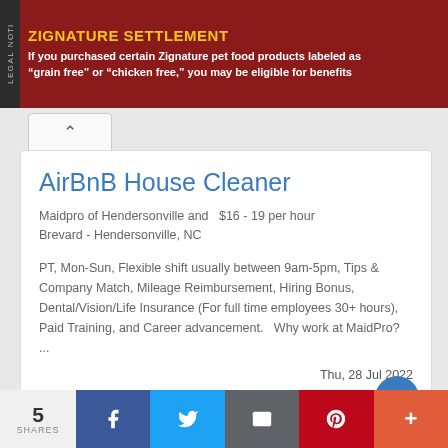ZIGNATURE SETTLEMENT — If you purchased certain Zignature pet food products labeled as "grain free" or "chicken free," you may be eligible for benefits
AirBnB House Cleaner
Maidpro of Hendersonville and   $16 - 19 per hour
Brevard - Hendersonville, NC
PT, Mon-Sun, Flexible shift usually between 9am-5pm, Tips & Company Match, Mileage Reimbursement, Hiring Bonus, Dental/Vision/Life Insurance (For full time employees 30+ hours), Paid Training, and Career advancement.   Why work at MaidPro? ...
Thu, 28 Jul 2022
5 SHARES  |  Facebook  |  Twitter  |  Email  |  Pinterest  |  More